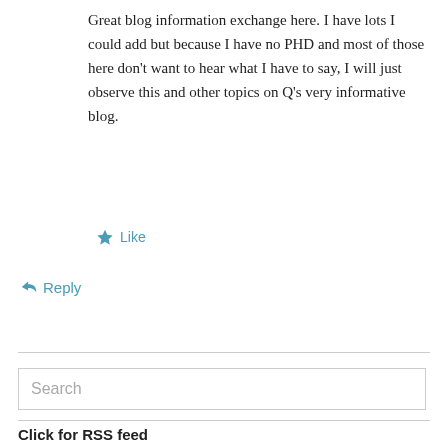Great blog information exchange here. I have lots I could add but because I have no PHD and most of those here don't want to hear what I have to say, I will just observe this and other topics on Q's very informative blog.
★ Like
↳ Reply
Search
Click for RSS feed